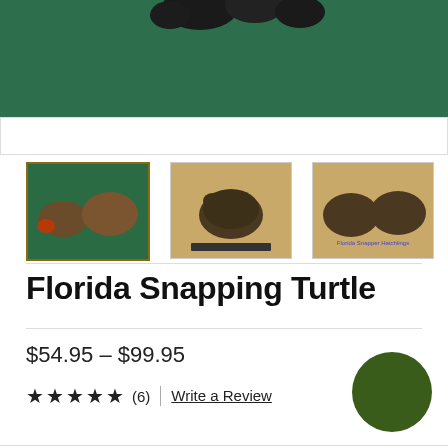[Figure (photo): Main product image showing snapping turtles on green background, partially visible at top of page with white area below]
[Figure (photo): Thumbnail 1 (selected): Two small snapping turtles on green background]
[Figure (photo): Thumbnail 2: Snapping turtle on tan/brown background]
[Figure (photo): Thumbnail 3: Two turtles on tan background with text 'Florida Snapper Hatchlings']
Florida Snapping Turtle
$54.95 – $99.95
★★★★★ (6) | Write a Review